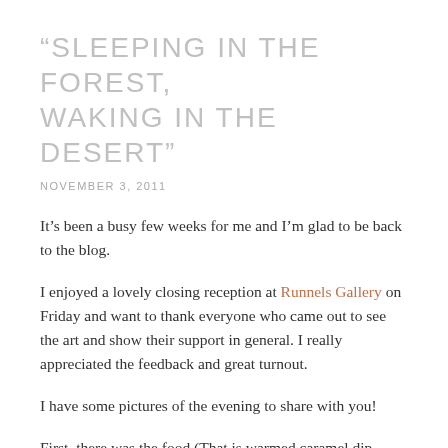“SLEEPING IN THE FOREST, WAKING IN THE DESERT”
NOVEMBER 3, 2011
It’s been a busy few weeks for me and I’m glad to be back to the blog.
I enjoyed a lovely closing reception at Runnels Gallery on Friday and want to thank everyone who came out to see the art and show their support in general. I really appreciated the feedback and great turnout.
I have some pictures of the evening to share with you!
First, there was the food (That is warmed caramel dip… mmm)!